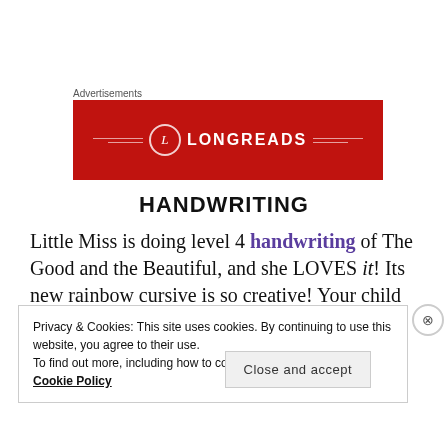Advertisements
[Figure (logo): Longreads advertisement banner — red background with white LONGREADS logo and letter L in a circle]
HANDWRITING
Little Miss is doing level 4 handwriting of The Good and the Beautiful, and she LOVES it! Its new rainbow cursive is so creative! Your child follows the steps in rainbow order to create the letter. They also include
Privacy & Cookies: This site uses cookies. By continuing to use this website, you agree to their use.
To find out more, including how to control cookies, see here:
Cookie Policy
Close and accept